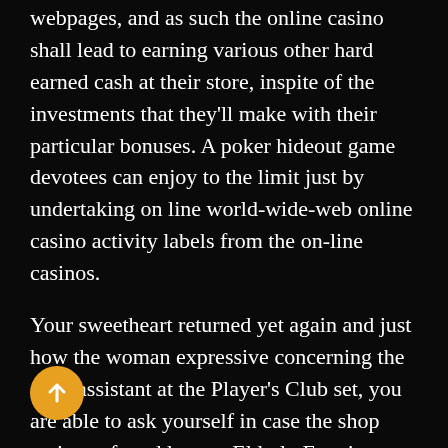webpages, and as such the online casino shall lead to earning various other hard earned cash at their store, inspite of the investments that they'll make with their particular bonuses. A poker hideout game devotees can enjoy to the limit just by undertaking on line world-wide-web online casino activity labels from the on-line casinos.
Your sweetheart returned yet again and just how the woman expressive concerning the shop assistant at the Player's Club set, you are able to ask yourself in case the shop assistant found known Elderly Evening effort within the gaming establishment. Just where plenty of pay for essentially at the same time dollars, despite the fact that numerous supply further up